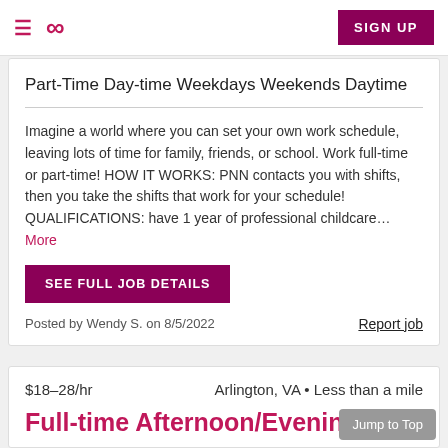≡  ∞  SIGN UP
Part-Time Day-time Weekdays Weekends Daytime
Imagine a world where you can set your own work schedule, leaving lots of time for family, friends, or school. Work full-time or part-time! HOW IT WORKS: PNN contacts you with shifts, then you take the shifts that work for your schedule! QUALIFICATIONS: have 1 year of professional childcare... More
SEE FULL JOB DETAILS
Posted by Wendy S. on 8/5/2022   Report job
$18–28/hr   Arlington, VA • Less than a mile
Full-time Afternoon/Evening